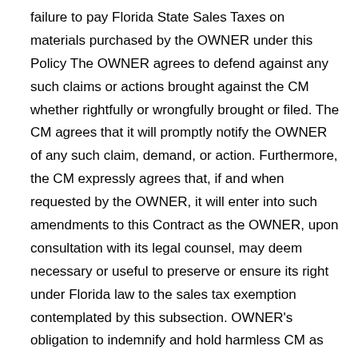failure to pay Florida State Sales Taxes on materials purchased by the OWNER under this Policy The OWNER agrees to defend against any such claims or actions brought against the CM whether rightfully or wrongfully brought or filed. The CM agrees that it will promptly notify the OWNER of any such claim, demand, or action. Furthermore, the CM expressly agrees that, if and when requested by the OWNER, it will enter into such amendments to this Contract as the OWNER, upon consultation with its legal counsel, may deem necessary or useful to preserve or ensure its right under Florida law to the sales tax exemption contemplated by this subsection. OWNER's obligation to indemnify and hold harmless CM as provided herein is subject to limitations, including monetary limitations, contained in Florida Statutes § 768.28. The GTC also provides includes the following in relevant part: ARTICLE 18 - OWNER DIRECT PURCHASE